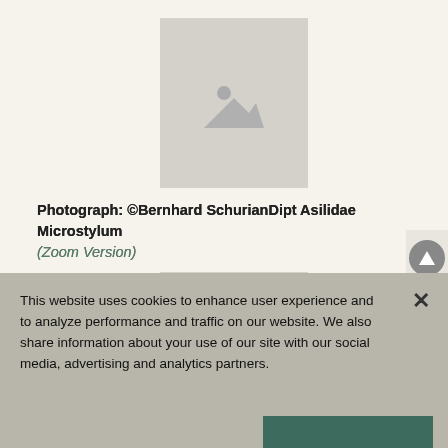[Figure (photo): Placeholder image box 1 - gray rectangle with mountain/photo icon]
Photograph: ©Bernhard SchurianDipt Asilidae Microstylum (Zoom Version)
[Figure (photo): Placeholder image box 2 - gray rectangle with mountain/photo icon]
This website uses cookies to enhance user experience and to analyze performance and traffic on our website. We also share information about your use of our site with our social media, advertising and analytics partners.